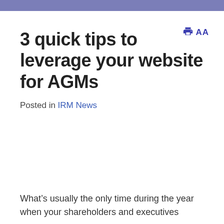3 quick tips to leverage your website for AGMs
Posted in IRM News
What’s usually the only time during the year when your shareholders and executives